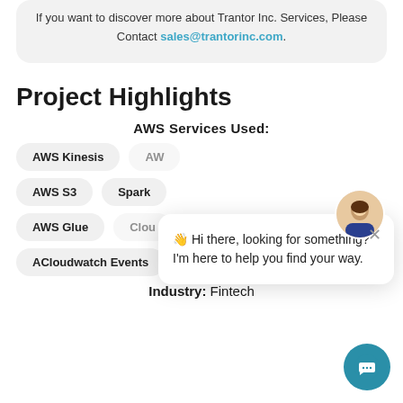If you want to discover more about Trantor Inc. Services, Please Contact sales@trantorinc.com.
Project Highlights
AWS Services Used:
AWS Kinesis
AWS S3
Spark
AWS Glue
ACloudwatch Events
[Figure (other): Chat popup widget with avatar and message: Hi there, looking for something? I'm here to help you find your way.]
Industry: Fintech